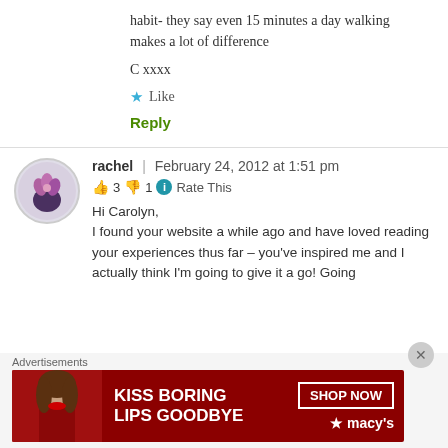habit- they say even 15 minutes a day walking makes a lot of difference
C xxxx
Like
Reply
rachel | February 24, 2012 at 1:51 pm
👍 3 👎 1 ℹ Rate This
Hi Carolyn, I found your website a while ago and have loved reading your experiences thus far – you've inspired me and I actually think I'm going to give it a go! Going
Advertisements
[Figure (illustration): Macy's advertisement banner - 'KISS BORING LIPS GOODBYE' with a woman's face and red lips, SHOP NOW button and Macy's star logo]